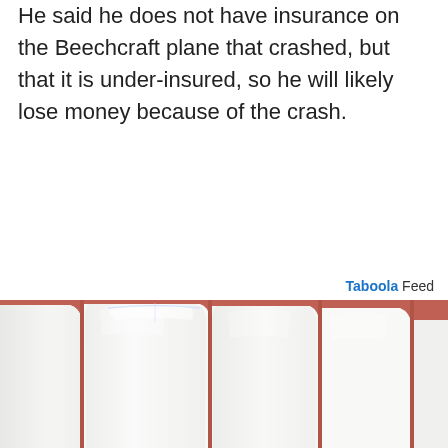He said he does not have insurance on the Beechcraft plane that crashed, but that it is under-insured, so he will likely lose money because of the crash.
Taboola Feed
[Figure (photo): Close-up photograph of white human teeth against pink gum tissue]